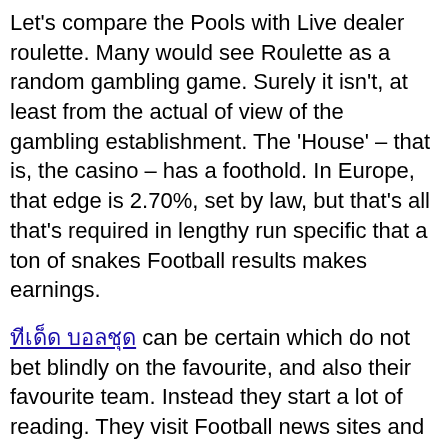Let's compare the Pools with Live dealer roulette. Many would see Roulette as a random gambling game. Surely it isn't, at least from the actual of view of the gambling establishment. The 'House' – that is, the casino – has a foothold. In Europe, that edge is 2.70%, set by law, but that's all that's required in lengthy run specific that a ton of snakes Football results makes earnings.
ทีเด็ด บอลชุด can be certain which do not bet blindly on the favourite, and also their favourite team. Instead they start a lot of reading. They visit Football news sites and continue abreast out of all the changes which have happening on leagues watercraft. This can vary from management changes, to injury to major users.